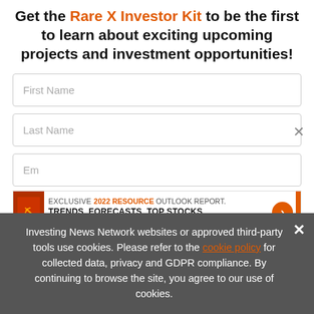Get the Rare X Investor Kit to be the first to learn about exciting upcoming projects and investment opportunities!
[Figure (screenshot): Form with First Name and Last Name input fields, partially visible email and phone fields, with an ad banner overlay showing EXCLUSIVE 2022 RESOURCE OUTLOOK REPORT. TRENDS. FORECASTS. TOP STOCKS with an orange arrow button]
Investing News Network websites or approved third-party tools use cookies. Please refer to the cookie policy for collected data, privacy and GDPR compliance. By continuing to browse the site, you agree to our use of cookies.